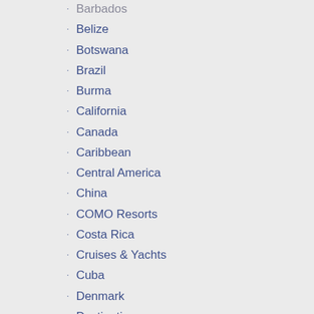Barbados
Belize
Botswana
Brazil
Burma
California
Canada
Caribbean
Central America
China
COMO Resorts
Costa Rica
Cruises & Yachts
Cuba
Denmark
Destinations
Ecuador (Galapagos)
Egypt